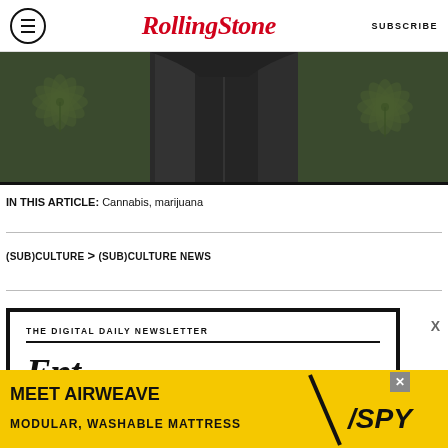RollingStone — SUBSCRIBE
[Figure (photo): A person wearing a dark jacket photographed against a green background with cannabis leaf motifs]
IN THIS ARTICLE: Cannabis, marijuana
(SUB)CULTURE > (SUB)CULTURE NEWS
THE DIGITAL DAILY NEWSLETTER
[Figure (infographic): Advertisement banner: MEET AIRWEAVE MODULAR, WASHABLE MATTRESS with SPY logo]